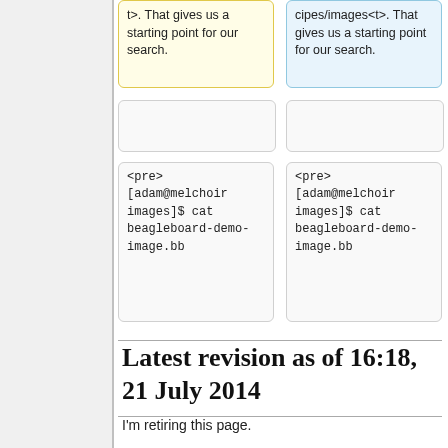t>. That gives us a starting point for our search.
cipes/images<t>. That gives us a starting point for our search.
<pre> [adam@melchoir images]$ cat beagleboard-demo-image.bb
<pre> [adam@melchoir images]$ cat beagleboard-demo-image.bb
Latest revision as of 16:18, 21 July 2014
I'm retiring this page.
OpenEmbedded Issues
For the most part, looking at the error log will give you enough information to